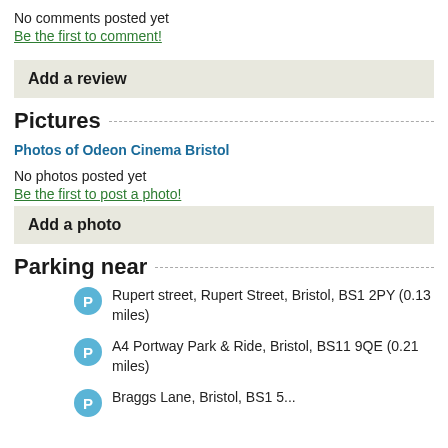No comments posted yet
Be the first to comment!
Add a review
Pictures
Photos of Odeon Cinema Bristol
No photos posted yet
Be the first to post a photo!
Add a photo
Parking near
Rupert street, Rupert Street, Bristol, BS1 2PY (0.13 miles)
A4 Portway Park & Ride, Bristol, BS11 9QE (0.21 miles)
Braggs Lane, Bristol, BS1 5... (0.2... miles)